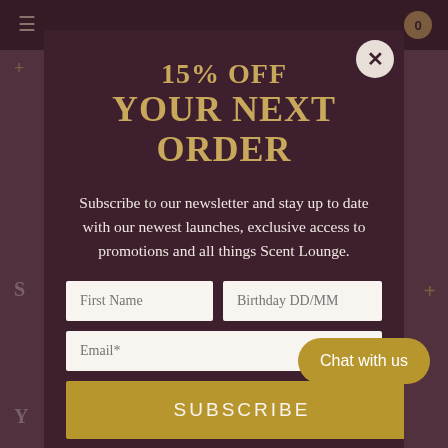15% OFF
YOUR NEXT ORDER
Subscribe to our newsletter and stay up to date with our newest launches, exclusive access to promotions and all things Scent Lounge.
First Name
Birthday DD/MM
Email*
SUBSCRIBE
Chat with us
By signing up you agree to receive email marketing from us. You can unsubscribe and manage your preferences at any time. For more